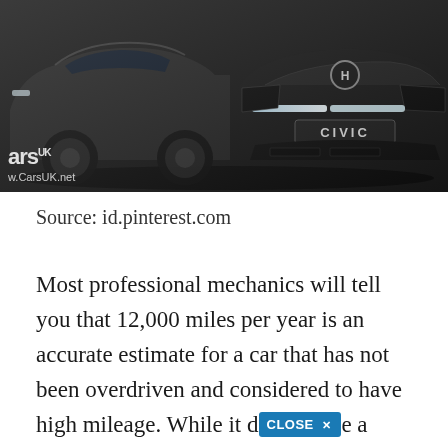[Figure (photo): Two dark/black Honda cars photographed in a moody, dark industrial setting. A Honda HR-V or similar crossover on the left, and a Honda Civic (front view showing 'CIVIC' badge and Honda logo) on the right. Both are black. watermark 'ars UK / w.CarsUK.net' visible bottom left.]
Source: id.pinterest.com
Most professional mechanics will tell you that 12,000 miles per year is an accurate estimate for a car that has not been overdriven and considered to have high mileage. While it d[CLOSE X]e a solid, tentative